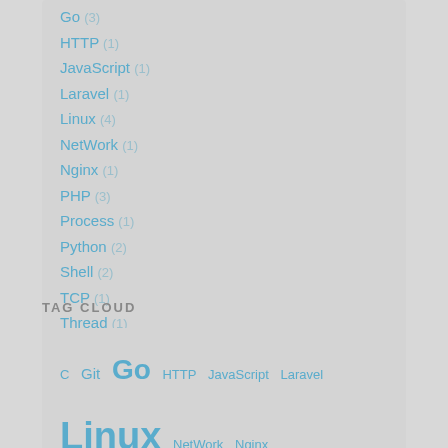Go (3)
HTTP (1)
JavaScript (1)
Laravel (1)
Linux (4)
NetWork (1)
Nginx (1)
PHP (3)
Process (1)
Python (2)
Shell (2)
TCP (1)
Thread (1)
vim (2)
TAG CLOUD
C  Git  Go  HTTP  JavaScript  Laravel  Linux  NetWork  Nginx  PHP  Process  Python  Shell  TCP  Thread  vim